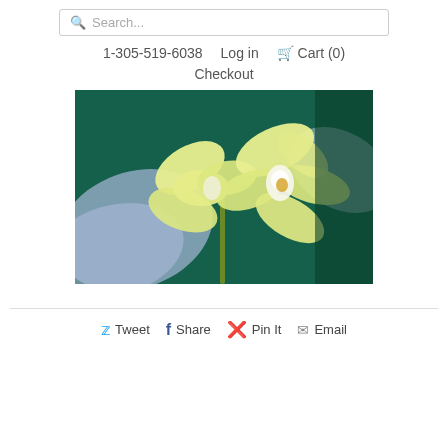Search... | 1-305-519-6038 | Log in | Cart (0) | Checkout
[Figure (photo): Close-up photo of yellow orchid flowers with a green stem against a dark green background, with pale blue-purple leaf shapes in the foreground/background.]
Tweet  Share  Pin It  Email